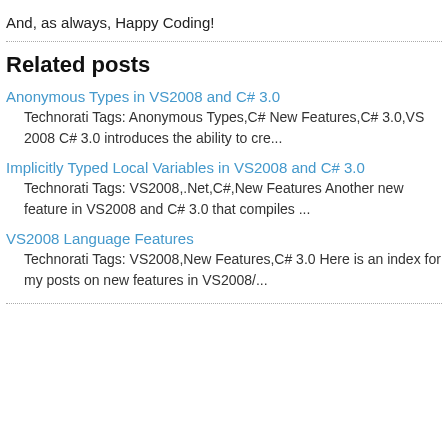And, as always, Happy Coding!
Related posts
Anonymous Types in VS2008 and C# 3.0
Technorati Tags: Anonymous Types,C# New Features,C# 3.0,VS 2008 C# 3.0 introduces the ability to cre...
Implicitly Typed Local Variables in VS2008 and C# 3.0
Technorati Tags: VS2008,.Net,C#,New Features Another new feature in VS2008 and C# 3.0 that compiles ...
VS2008 Language Features
Technorati Tags: VS2008,New Features,C# 3.0 Here is an index for my posts on new features in VS2008/...